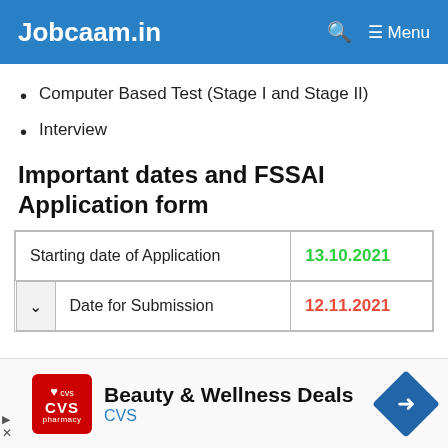Jobcaam.in — Menu
Computer Based Test (Stage I and Stage II)
Interview
Important dates and FSSAI Application form
|  | Date |
| --- | --- |
| Starting date of Application | 13.10.2021 |
| Date for Submission | 12.11.2021 |
[Figure (other): CVS Pharmacy advertisement banner: Beauty & Wellness Deals]